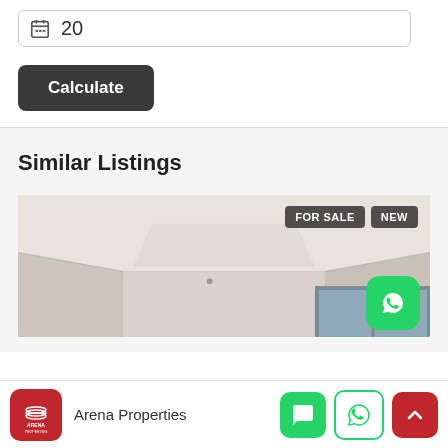20
Calculate
Similar Listings
[Figure (photo): Interior room/ceiling photo of a property for sale, with FOR SALE and NEW badges, and a WhatsApp button overlay]
Arena Properties